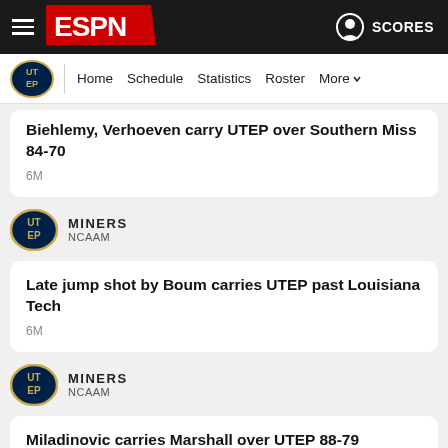ESPN — SCORES | Home | Schedule | Statistics | Roster | More
Biehlemy, Verhoeven carry UTEP over Southern Miss 84-70
6M
MINERS NCAAM
Late jump shot by Boum carries UTEP past Louisiana Tech
6M
MINERS NCAAM
Miladinovic carries Marshall over UTEP 88-79
6M
MINERS